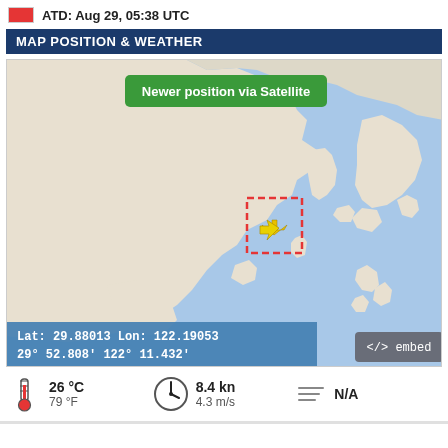ATD: Aug 29, 05:38 UTC
MAP POSITION & WEATHER
[Figure (map): Map of East Asia showing ship position near China/Yellow Sea coast with red dashed bounding box around ship marker (yellow arrow). Green badge reads 'Newer position via Satellite'. Coordinates overlay: Lat: 29.88013, Lon: 122.19053, 29° 52.808', 122° 11.432'. Embed button bottom-right.]
Lat: 29.88013    Lon: 122.19053
29° 52.808'        122° 11.432'
26 °C
79 °F
8.4 kn
4.3 m/s
N/A